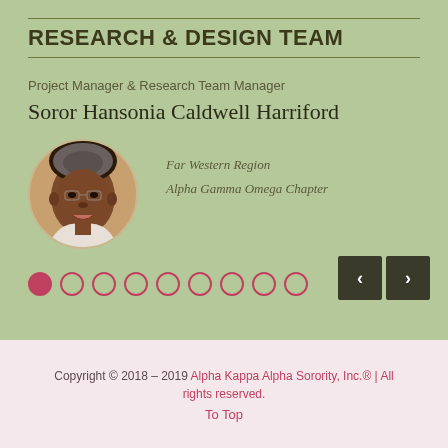RESEARCH & DESIGN TEAM
Project Manager & Research Team Manager
Soror Hansonia Caldwell Harriford
[Figure (photo): Circular portrait photo of Soror Hansonia Caldwell Harriford]
Far Western Region
Alpha Gamma Omega Chapter
Copyright © 2018 – 2019 Alpha Kappa Alpha Sorority, Inc.® | All rights reserved.
To Top